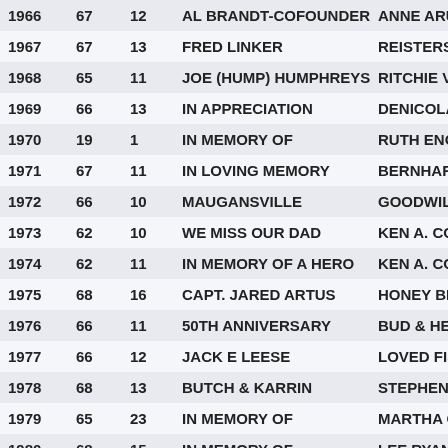| 1966 | 67 | 12 | AL BRANDT-COFOUNDER | ANNE ARUN |
| 1967 | 67 | 13 | FRED LINKER | REISTERST |
| 1968 | 65 | 11 | JOE (HUMP) HUMPHREYS | RITCHIE VF |
| 1969 | 66 | 13 | IN APPRECIATION | DENICOLA |
| 1970 | 19 | 1 | IN MEMORY OF | RUTH ENGE |
| 1971 | 67 | 11 | IN LOVING MEMORY | BERNHARD |
| 1972 | 66 | 10 | MAUGANSVILLE | GOODWILL |
| 1973 | 62 | 10 | WE MISS OUR DAD | KEN A. COF |
| 1974 | 62 | 11 | IN MEMORY OF A HERO | KEN A. COF |
| 1975 | 68 | 16 | CAPT. JARED ARTUS | HONEY BRO |
| 1976 | 66 | 11 | 50TH ANNIVERSARY | BUD & HELI |
| 1977 | 66 | 12 | JACK E LEESE | LOVED FISH |
| 1978 | 68 | 13 | BUTCH & KARRIN | STEPHENS |
| 1979 | 65 | 23 | IN MEMORY OF | MARTHA GI |
| 1980 | 68 | 15 | IN MEMORY OF | LEE RYAN L |